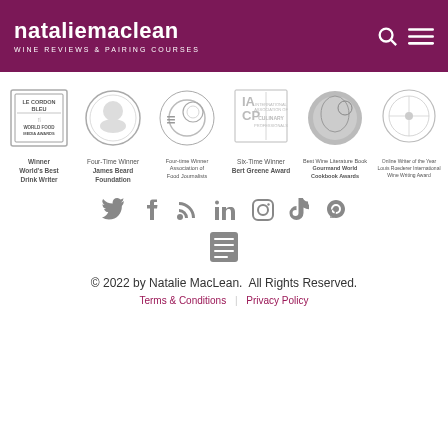natalie maclean WINE REVIEWS & PAIRING COURSES
[Figure (logo): Le Cordon Bleu World Food Media Awards badge - Winner World's Best Drink Writer]
[Figure (logo): James Beard Foundation medal - Four-Time Winner]
[Figure (logo): Food Journalists award circle logo - Four-time Winner Association of Food Journalists]
[Figure (logo): IACP International Association of Culinary Professionals logo - Six-Time Winner Bert Greene Award]
[Figure (logo): Gourmand World Cookbook Awards badge - Best Wine Literature Book]
[Figure (logo): Louis Roederer International Wine Writing Award - Online Writer of the Year]
[Figure (infographic): Social media icons row: Twitter, Facebook, RSS, LinkedIn, Instagram, TikTok, Goodreads, and a menu/contact icon]
© 2022 by Natalie MacLean.  All Rights Reserved.
Terms & Conditions   Privacy Policy